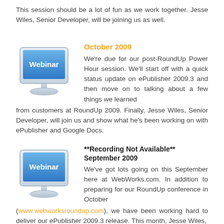This session should be a lot of fun as we work together. Jesse Wiles, Senior Developer, will be joining us as well.
[Figure (illustration): Webinar icon: computer monitor with 'Webinar' text on screen, blue gradient style]
October 2009
We're due for our post-RoundUp Power Hour session. We'll start off with a quick status update on ePublisher 2009.3 and then move on to talking about a few things we learned from customers at RoundUp 2009. Finally, Jesse Wiles, Senior Developer, will join us and show what he's been working on with ePublisher and Google Docs.
[Figure (illustration): Webinar icon: computer monitor with 'Webinar' text on screen, blue gradient style]
**Recording Not Available** September 2009
We've got lots going on this September here at WebWorks.com. In addition to preparing for our RoundUp conference in October (www.webworksroundup.com), we have been working hard to deliver our ePublisher 2009.3 release. This month, Jesse Wiles,